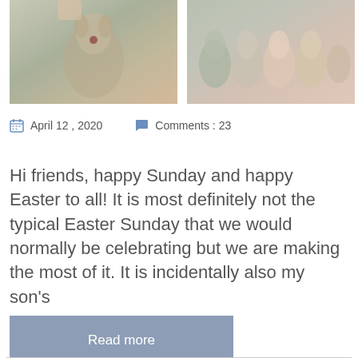[Figure (photo): Two photos of ceramic/porcelain dog figurines side by side. Left photo shows a close-up of a Cavalier King Charles Spaniel figurine. Right photo shows multiple dog figurines of varying colors arranged together.]
April 12 , 2020    Comments : 23
Hi friends, happy Sunday and happy Easter to all! It is most definitely not the typical Easter Sunday that we would normally be celebrating but we are making the most of it. It is incidentally also my son's
Read more